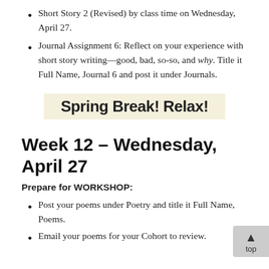Short Story 2 (Revised) by class time on Wednesday, April 27.
Journal Assignment 6: Reflect on your experience with short story writing—good, bad, so-so, and why. Title it Full Name, Journal 6 and post it under Journals.
Spring Break! Relax!
Week 12 – Wednesday, April 27
Prepare for WORKSHOP:
Post your poems under Poetry and title it Full Name, Poems.
Email your poems for your Cohort to review.